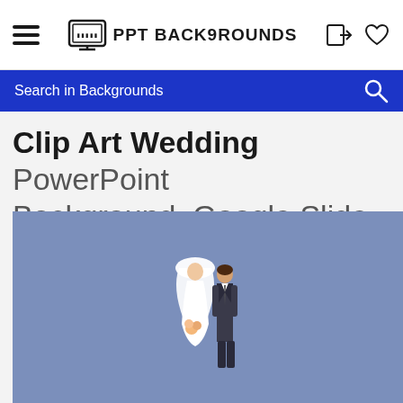PPT BACKGROUNDS
Search in Backgrounds
Clip Art Wedding PowerPoint Background, Google Slide
[Figure (illustration): Blue/periwinkle background with a wedding couple (bride in white dress and veil, groom in dark suit) standing together at the bottom center of the image.]